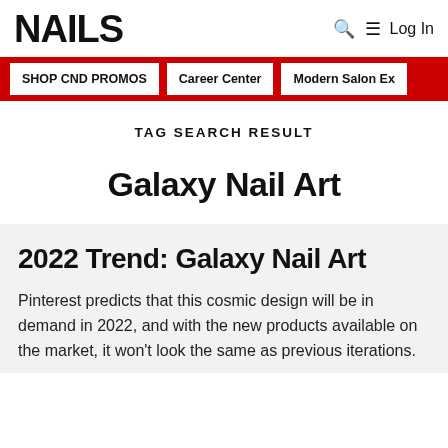NAILS
SHOP CND PROMOS | Career Center | Modern Salon Ex
TAG SEARCH RESULT
Galaxy Nail Art
2022 Trend: Galaxy Nail Art
Pinterest predicts that this cosmic design will be in demand in 2022, and with the new products available on the market, it won't look the same as previous iterations.